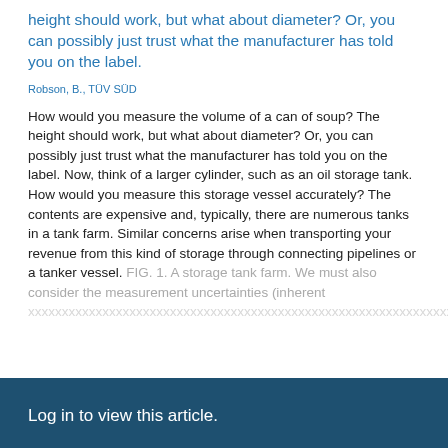height should work, but what about diameter? Or, you can possibly just trust what the manufacturer has told you on the label.
Robson, B., TÜV SÜD
How would you measure the volume of a can of soup? The height should work, but what about diameter? Or, you can possibly just trust what the manufacturer has told you on the label. Now, think of a larger cylinder, such as an oil storage tank. How would you measure this storage vessel accurately? The contents are expensive and, typically, there are numerous tanks in a tank farm. Similar concerns arise when transporting your revenue from this kind of storage through connecting pipelines or a tanker vessel. FIG. 1. A storage tank farm. We must also consider the measurement uncertainties (inherent ...
Log in to view this article.